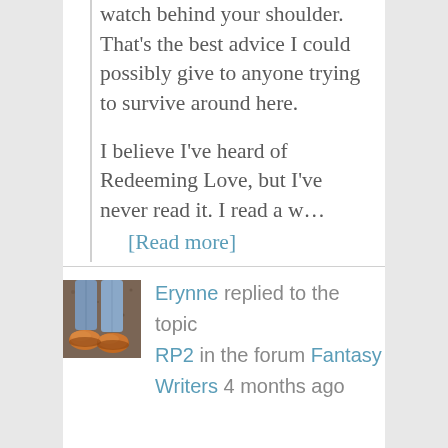watch behind your shoulder. That's the best advice I could possibly give to anyone trying to survive around here.

I believe I've heard of Redeeming Love, but I've never read it. I read a w…
[Read more]
[Figure (photo): Avatar thumbnail photo showing orange/brown shoes and jeans from above, on a dirt/gravel surface]
Erynne replied to the topic RP2 in the forum Fantasy Writers 4 months ago